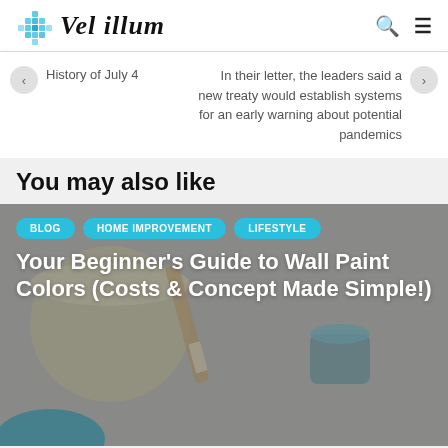Vel illum
History of July 4
In their letter, the leaders said a new treaty would establish systems for an early warning about potential pandemics
You may also like
[Figure (photo): Background photo of paint cans and brushes for wall painting article]
Your Beginner's Guide to Wall Paint Colors (Costs & Concept Made Simple!)
BLOG
HOME IMPROVEMENT
LIFESTYLE